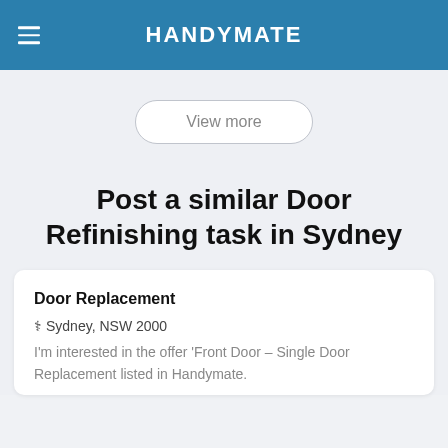HANDYMATE
[Figure (screenshot): View more button - rounded pill button with light border on grey background]
Post a similar Door Refinishing task in Sydney
Door Replacement
Sydney, NSW 2000
I'm interested in the offer 'Front Door – Single Door Replacement listed in Handymate.